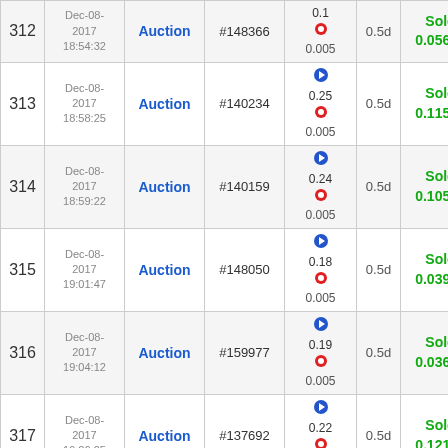| # | Date | Type | Item | Price | Duration | Result |
| --- | --- | --- | --- | --- | --- | --- |
| 312 | Dec-08-2017 18:54:32 | Auction | #148366 | ▶ 0.1 / 0.005 | 0.5d | Sold 0.05667 |
| 313 | Dec-08-2017 18:58:25 | Auction | #140234 | ▶ 0.25 / 0.005 | 0.5d | Sold 0.11530 |
| 314 | Dec-08-2017 18:59:22 | Auction | #140159 | ▶ 0.24 / 0.005 | 0.5d | Sold 0.10575 |
| 315 | Dec-08-2017 19:01:47 | Auction | #148050 | ▶ 0.18 / 0.005 | 0.5d | Sold 0.03971 |
| 316 | Dec-08-2017 19:04:12 | Auction | #159977 | ▶ 0.19 / 0.005 | 0.5d | Sold 0.03690 |
| 317 | Dec-08-2017 19:06:25 | Auction | #137692 | ▶ 0.22 / 0.005 | 0.5d | Sold 0.12166 |
| ... | Dec-08-... | Auction | ... | ▶ ... | ... | Sold ... |